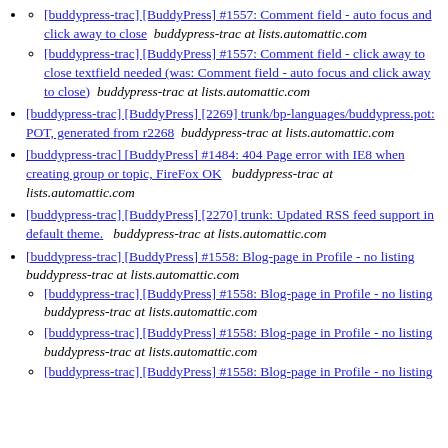[buddypress-trac] [BuddyPress] #1557: Comment field - auto focus and click away to close  buddypress-trac at lists.automattic.com
[buddypress-trac] [BuddyPress] #1557: Comment field - click away to close textfield needed (was: Comment field - auto focus and click away to close)  buddypress-trac at lists.automattic.com
[buddypress-trac] [BuddyPress] [2269] trunk/bp-languages/buddypress.pot: POT, generated from r2268  buddypress-trac at lists.automattic.com
[buddypress-trac] [BuddyPress] #1484: 404 Page error with IE8 when creating group or topic, FireFox OK  buddypress-trac at lists.automattic.com
[buddypress-trac] [BuddyPress] [2270] trunk: Updated RSS feed support in default theme.  buddypress-trac at lists.automattic.com
[buddypress-trac] [BuddyPress] #1558: Blog-page in Profile - no listing  buddypress-trac at lists.automattic.com
[buddypress-trac] [BuddyPress] #1558: Blog-page in Profile - no listing  buddypress-trac at lists.automattic.com
[buddypress-trac] [BuddyPress] #1558: Blog-page in Profile - no listing  buddypress-trac at lists.automattic.com
[buddypress-trac] [BuddyPress] #1558: Blog-page in Profile - no listing